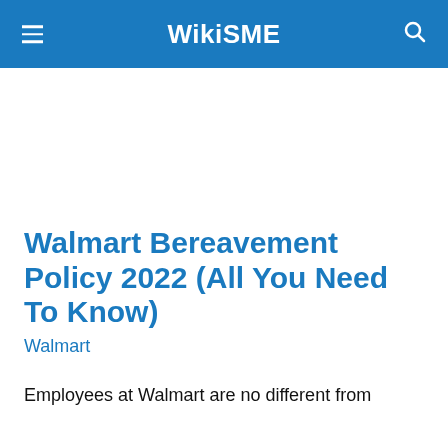WikiSME
Walmart Bereavement Policy 2022 (All You Need To Know)
Walmart
Employees at Walmart are no different from